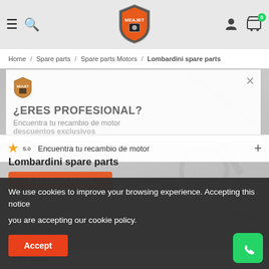Meajet logo header with hamburger menu, search icon, logo, user icon, cart (0)
Home / Spare parts / Spare parts Motors / Lombardini spare parts
[Figure (screenshot): Background blurred product page with engine parts]
¿ERES PROFESIONAL?
Encuentra tu recambio de motor descuentos exclusivos
Lombardini spare parts
We use cookies to improve your browsing experience. Accepting this notice

you are accepting our cookie policy.
Accept
12LD series